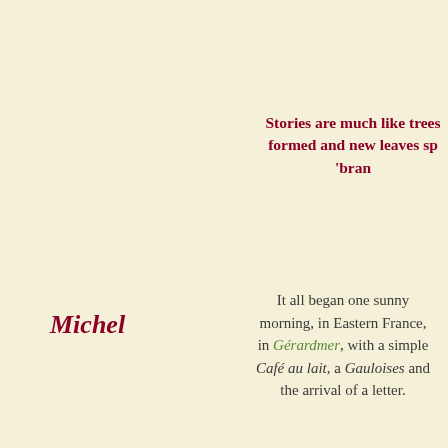Stories are much like trees formed and new leaves sp 'bran
Michel
It all began one sunny morning, in Eastern France, in Gérardmer, with a simple Café au lait, a Gauloises and the arrival of a letter.